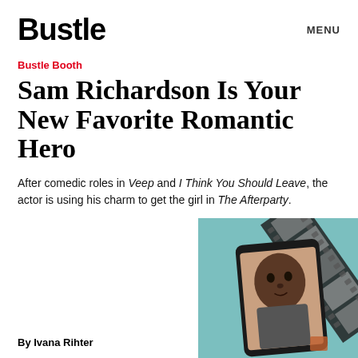Bustle
MENU
Bustle Booth
Sam Richardson Is Your New Favorite Romantic Hero
After comedic roles in Veep and I Think You Should Leave, the actor is using his charm to get the girl in The Afterparty.
[Figure (photo): Photo of Sam Richardson on a phone screen against a film strip background with blue teal color]
By Ivana Rihter